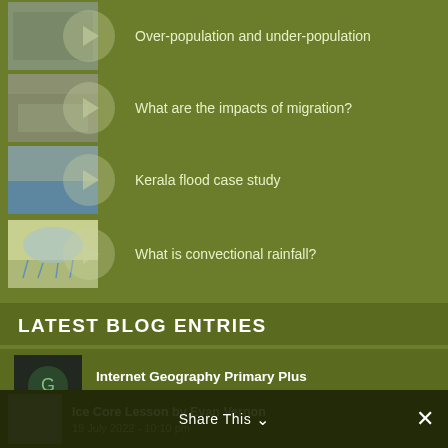Over-population and under-population
What are the impacts of migration?
Kerala flood case study
What is convectional rainfall?
LATEST BLOG ENTRIES
Internet Geography Primary Plus
15 August 2022 - 6:08 pm
Ice Core Lesson by Evan Vernon
19 July 2022 - 10:10 pm
Share This